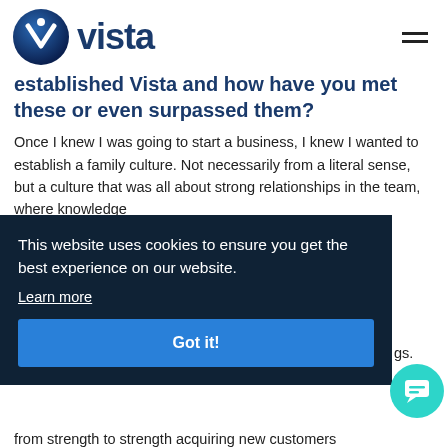vista
established Vista and how have you met these or even surpassed them?
Once I knew I was going to start a business, I knew I wanted to establish a family culture. Not necessarily from a literal sense, but a culture that was all about strong relationships in the team, where knowledge [...]ert but [...] gs. [...] e
This website uses cookies to ensure you get the best experience on our website. Learn more Got it!
from strength to strength acquiring new customers